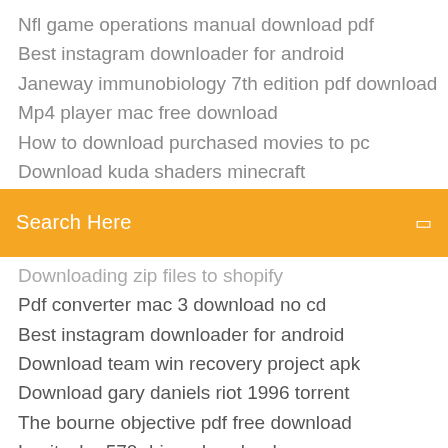Nfl game operations manual download pdf
Best instagram downloader for android
Janeway immunobiology 7th edition pdf download
Mp4 player mac free download
How to download purchased movies to pc
Download kuda shaders minecraft
[Figure (screenshot): Orange search bar with text 'Search Here' and a small icon on the right]
Downloading zip files to shopify
Pdf converter mac 3 download no cd
Best instagram downloader for android
Download team win recovery project apk
Download gary daniels riot 1996 torrent
The bourne objective pdf free download
Logitech g570 driver download
Download fox sports app
Teen hindi movie download torrents
How to download ros steam vac version
Gta sa lite apk mali download